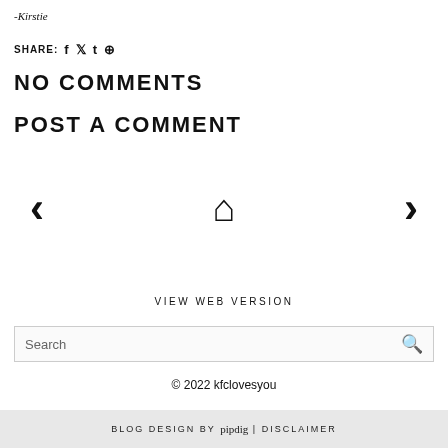-Kirstie
SHARE: f t ® (social share icons)
NO COMMENTS
POST A COMMENT
< (previous) home (house icon) > (next) navigation
VIEW WEB VERSION
Search
© 2022 kfclovesyou
BLOG DESIGN BY pipdig | DISCLAIMER